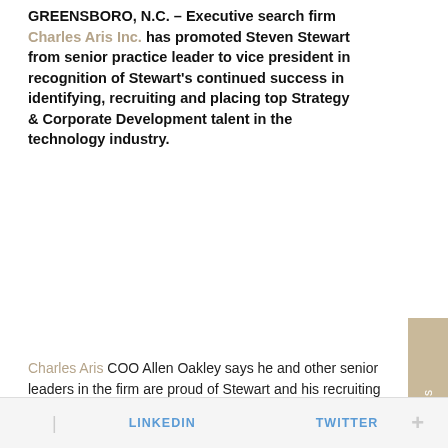GREENSBORO, N.C. – Executive search firm Charles Aris Inc. has promoted Steven Stewart from senior practice leader to vice president in recognition of Stewart's continued success in identifying, recruiting and placing top Strategy & Corporate Development talent in the technology industry.
[Figure (other): Tan/beige vertical sidebar tab with rotated text reading 'Locations']
Charles Aris COO Allen Oakley says he and other senior leaders in the firm are proud of Stewart and his recruiting achievements on behalf of Charles Aris clients in the technology sector.
“The entire Charles Aris family is excited about Steven Stewart’s leadership ability and the distinct impact it has on a firmwide basis. Steven’s level of commitment in
[Figure (photo): Round avatar circle with person silhouette icon, tan/brown color]
LINKEDIN   TWITTER   +